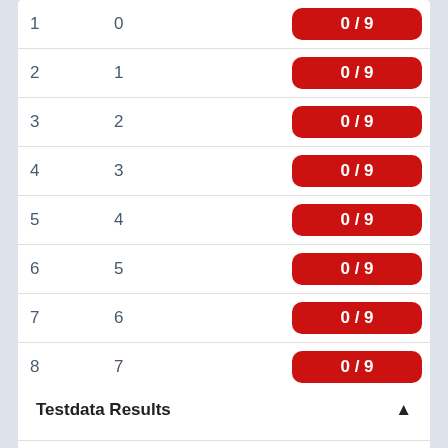| # | Index | Score |
| --- | --- | --- |
| 1 | 0 | 0/9 |
| 2 | 1 | 0/9 |
| 3 | 2 | 0/9 |
| 4 | 3 | 0/9 |
| 5 | 4 | 0/9 |
| 6 | 5 | 0/9 |
| 7 | 6 | 0/9 |
| 8 | 7 | 0/9 |
| 9 | 8 | 0/9 |
| 10 | 9 | 0/9 |
| 11 | 10 | 10/10 |
Testdata Results